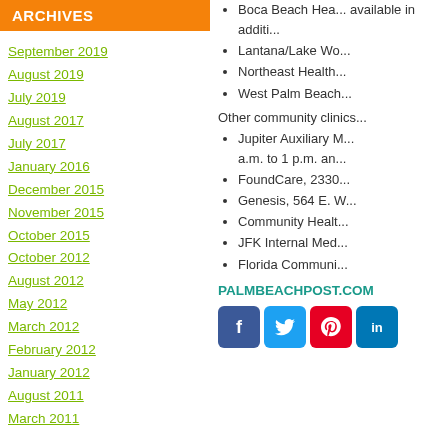ARCHIVES
September 2019
August 2019
July 2019
August 2017
July 2017
January 2016
December 2015
November 2015
October 2015
October 2012
August 2012
May 2012
March 2012
February 2012
January 2012
August 2011
March 2011
Boca Beach Hea... available in additi...
Lantana/Lake Wo...
Northeast Health...
West Palm Beach...
Other community clinics...
Jupiter Auxiliary ... a.m. to 1 p.m. an...
FoundCare, 2330...
Genesis, 564 E. W...
Community Healt...
JFK Internal Med...
Florida Communi...
PALMBEACHPOST.COM
[Figure (other): Social media icons: Facebook, Twitter, Pinterest, LinkedIn]